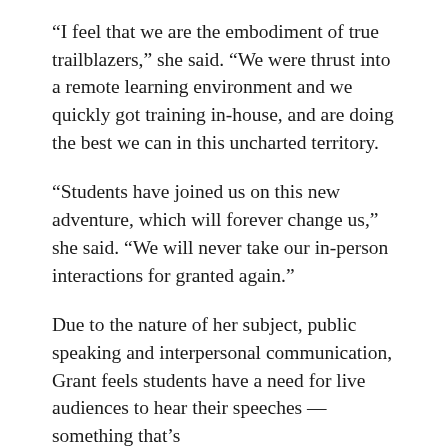“I feel that we are the embodiment of true trailblazers,” she said. “We were thrust into a remote learning environment and we quickly got training in-house, and are doing the best we can in this uncharted territory.
“Students have joined us on this new adventure, which will forever change us,” she said. “We will never take our in-person interactions for granted again.”
Due to the nature of her subject, public speaking and interpersonal communication, Grant feels students have a need for live audiences to hear their speeches — something that’s